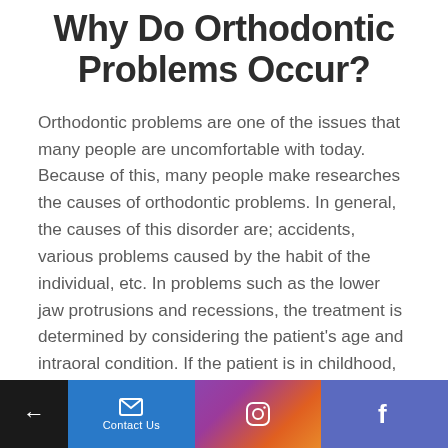Why Do Orthodontic Problems Occur?
Orthodontic problems are one of the issues that many people are uncomfortable with today. Because of this, many people make researches the causes of orthodontic problems. In general, the causes of this disorder are; accidents, various problems caused by the habit of the individual, etc. In problems such as the lower jaw protrusions and recessions, the treatment is determined by considering the patient's age and intraoral condition. If the patient is in childhood, various treatment methods are
← Contact Us [Instagram] [Facebook]